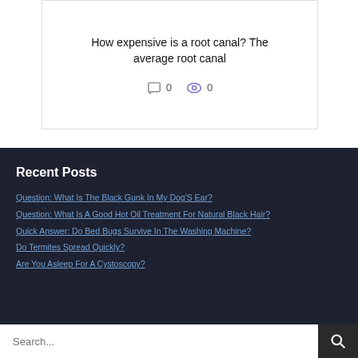How expensive is a root canal? The average root canal
0  0
Recent Posts
Question: What Is The Black Gunk In My Dog'S Ear?
Question: What Is A Good Hot Oil Treatment For Natural Black Hair?
Quick Answer: Do Bed Bugs Survive In The Washing Machine?
Do Termites Spread Quickly?
Are You Asleep For A Cystoscopy?